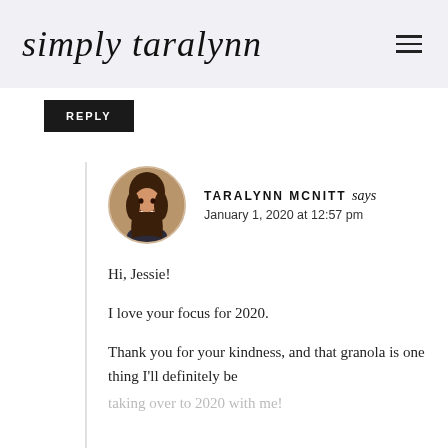simply taralynn
REPLY
[Figure (photo): Round avatar photo of Taralynn McNitt, a woman with long brown hair, smiling]
TARALYNN MCNITT says
January 1, 2020 at 12:57 pm
Hi, Jessie!

I love your focus for 2020.

Thank you for your kindness, and that granola is one thing I'll definitely be taking over to 2020 with me!